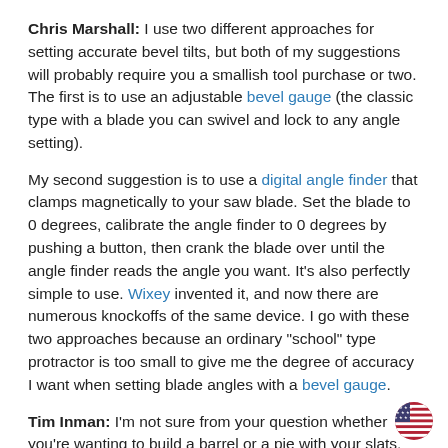Chris Marshall: I use two different approaches for setting accurate bevel tilts, but both of my suggestions will probably require you a smallish tool purchase or two. The first is to use an adjustable bevel gauge (the classic type with a blade you can swivel and lock to any angle setting).
My second suggestion is to use a digital angle finder that clamps magnetically to your saw blade. Set the blade to 0 degrees, calibrate the angle finder to 0 degrees by pushing a button, then crank the blade over until the angle finder reads the angle you want. It's also perfectly simple to use. Wixey invented it, and now there are numerous knockoffs of the same device. I go with these two approaches because an ordinary "school" type protractor is too small to give me the degree of accuracy I want when setting blade angles with a bevel gauge.
Tim Inman: I'm not sure from your question whether you're wanting to build a barrel or a pie with your slats. (In other words, are the angles to be cut on the edges or the faces of...